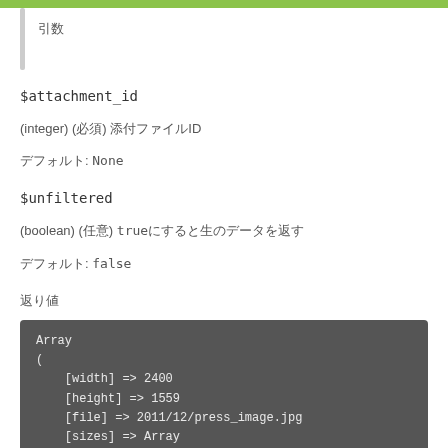引数
$attachment_id
(integer) (必須) 添付ファイルID
デフォルト: None
$unfiltered
(boolean) (任意) trueにすると生のデータを返す
デフォルト: false
返り値
Array
    (
        [width] => 2400
        [height] => 1559
        [file] => 2011/12/press_image.jpg
        [sizes] => Array